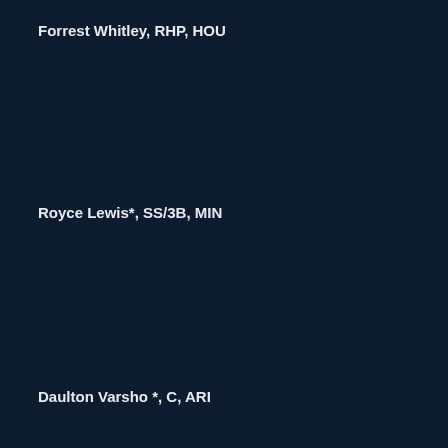Forrest Whitley, RHP, HOU
Royce Lewis*, SS/3B, MIN
Daulton Varsho *, C, ARI
Jordyn Adams, OF, LAA
Ronny Mauricio, SS, NYM
Logan Gilbert *, RHP, SEA